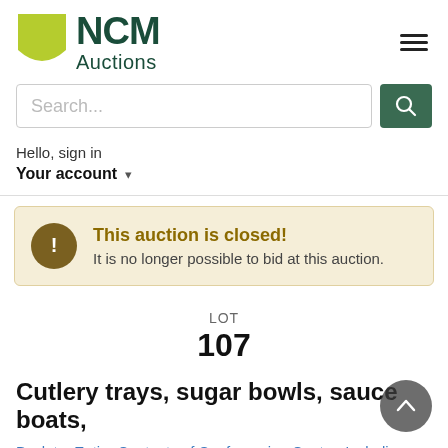[Figure (logo): NCM Auctions logo with green shield and dark green NCM Auctions text]
Search...
Hello, sign in
Your account
This auction is closed!
It is no longer possible to bid at this auction.
LOT
107
Cutlery trays, sugar bowls, sauce boats,
Back to: Entire Contents of Conferencing Centre, Including Commercial Catering, Conference Equipment, Quality Bedroom Furniture, Bar Fridge And